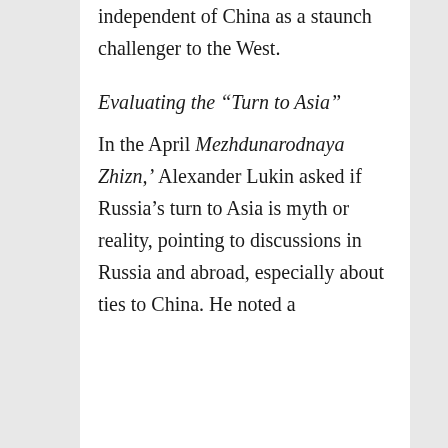independent of China as a staunch challenger to the West.
Evaluating the “Turn to Asia”
In the April Mezhdunarodnaya Zhizn,’ Alexander Lukin asked if Russia’s turn to Asia is myth or reality, pointing to discussions in Russia and abroad, especially about ties to China. He noted a